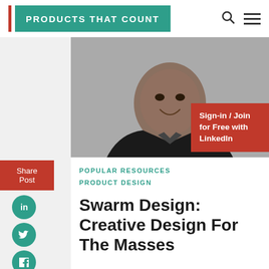PRODUCTS THAT COUNT
[Figure (photo): Black and white portrait photo of a smiling man in a dark jacket]
Sign-in / Join for Free with LinkedIn
Share Post
POPULAR RESOURCES  PRODUCT DESIGN
Swarm Design: Creative Design For The Masses
The power of swarm design